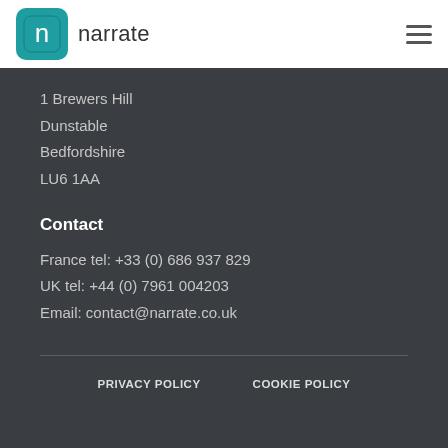narrate
1 Brewers Hill
Dunstable
Bedfordshire
LU6 1AA
Contact
France tel: +33 (0) 686 937 829
UK tel: +44 (0) 7961 004203
Email: contact@narrate.co.uk
PRIVACY POLICY   COOKIE POLICY